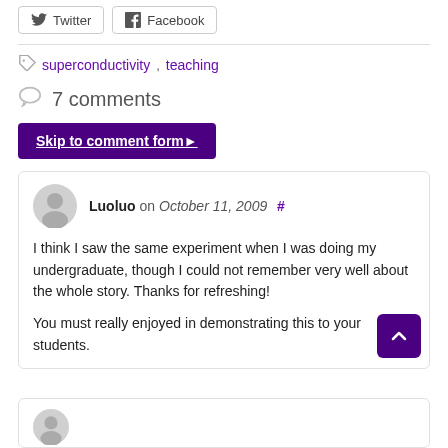[Figure (other): Twitter and Facebook share buttons]
superconductivity, teaching
7 comments
Skip to comment form
Luoluo on October 11, 2009 #
I think I saw the same experiment when I was doing my undergraduate, though I could not remember very well about the whole story. Thanks for refreshing!

You must really enjoyed in demonstrating this to your students.